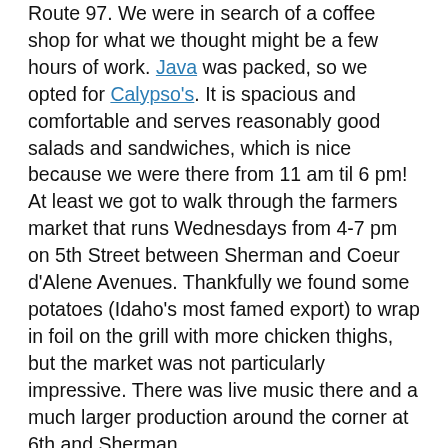Route 97. We were in search of a coffee shop for what we thought might be a few hours of work. Java was packed, so we opted for Calypso's. It is spacious and comfortable and serves reasonably good salads and sandwiches, which is nice because we were there from 11 am til 6 pm! At least we got to walk through the farmers market that runs Wednesdays from 4-7 pm on 5th Street between Sherman and Coeur d'Alene Avenues. Thankfully we found some potatoes (Idaho's most famed export) to wrap in foil on the grill with more chicken thighs, but the market was not particularly impressive. There was live music there and a much larger production around the corner at 6th and Sherman.
On the drive home, we saw deer in several places, including one for which I had to brake intensely. Route 97 hugs the lake at enough elevation to afford constant views. It is friendly to convertibles, and the blue skies and temperature in the 70s made for a pleasant joy ride. We made a campfire, cooked dinner (perhaps psychosomatic but the spuds were